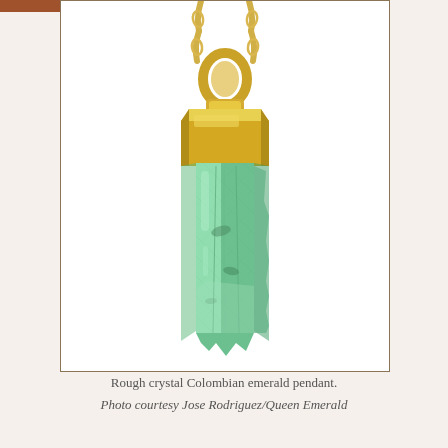[Figure (photo): Photograph of a rough crystal Colombian emerald pendant. The pendant features a raw, hexagonal green emerald crystal set into a polished gold cap/bezel with a gold bail and chain visible at the top. The emerald is a light to medium green translucent rough crystal. The image is on a white background with a thin brown border.]
Rough crystal Colombian emerald pendant.
Photo courtesy Jose Rodriguez/Queen Emerald